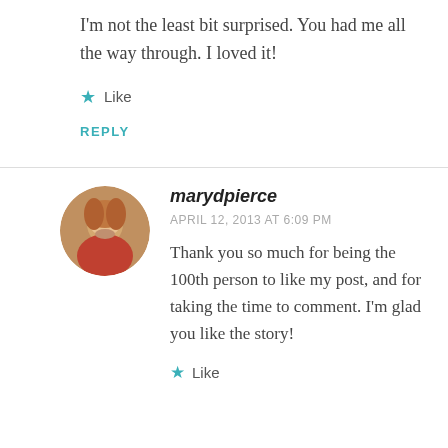I'm not the least bit surprised. You had me all the way through. I loved it!
★ Like
REPLY
marydpierce
APRIL 12, 2013 AT 6:09 PM
Thank you so much for being the 100th person to like my post, and for taking the time to comment. I'm glad you like the story!
★ Like